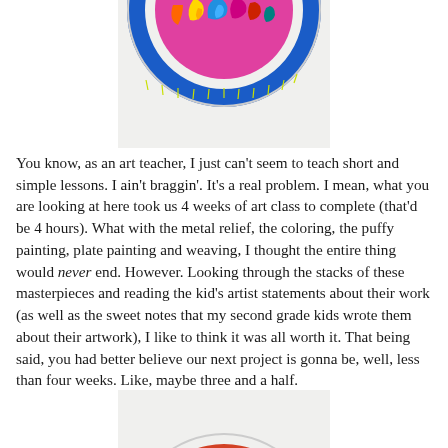[Figure (photo): A colorful circular plate art piece with metal relief, puffy painting, and weaving in bright blues, pinks, yellows, and oranges, photographed against a white background. Only the bottom half of the circle is visible, cropped at the top.]
You know, as an art teacher, I just can't seem to teach short and simple lessons. I ain't braggin'. It's a real problem. I mean, what you are looking at here took us 4 weeks of art class to complete (that'd be 4 hours). What with the metal relief, the coloring, the puffy painting, plate painting and weaving, I thought the entire thing would never end. However. Looking through the stacks of these masterpieces and reading the kid's artist statements about their work (as well as the sweet notes that my second grade kids wrote them about their artwork), I like to think it was all worth it. That being said, you had better believe our next project is gonna be, well, less than four weeks. Like, maybe three and a half.
[Figure (photo): A circular plate art piece showing colorful weaving with red, blue, and other colors against a white background. Only the top portion of the circle is visible, cropped at the bottom of the page.]